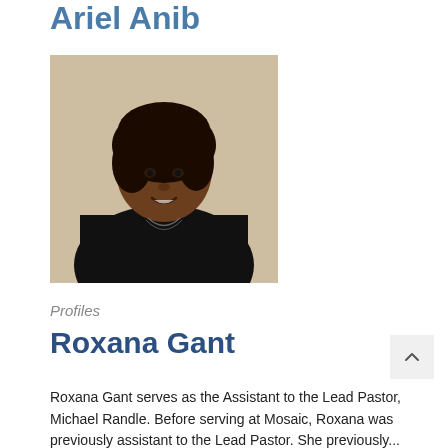Ariel Anib
[Figure (photo): Headshot photo of Roxana Gant, a woman with dark braided hair wearing a black sleeveless top and a long necklace, smiling, against a light background.]
Profiles
Roxana Gant
Roxana Gant serves as the Assistant to the Lead Pastor, Michael Randle. Before serving at Mosaic, Roxana was previously assistant to the Lead Pastor. She previously...